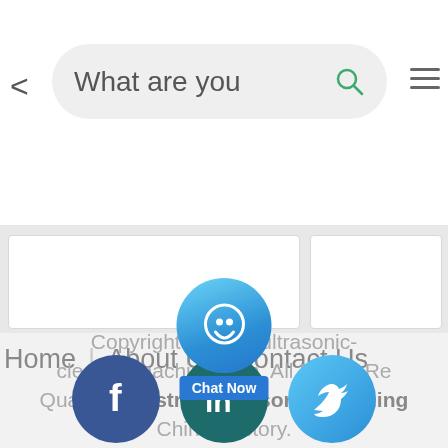[Figure (screenshot): Mobile browser screenshot showing a search bar with back arrow, hamburger menu, navigation links (Home, About Us, Contact Us), a Chat Now button overlay, Facebook/LinkedIn/Twitter social icons, and a copyright footer for ultrasonic-cleaningmachine.com]
What are you
Home | About Us Contact Us
Chat Now
Copyright © 2022 ultrasonic-cleaningmachine.com. All Rights Reserved. Quality Industrial Ultrasonic Cleaning China Factory.